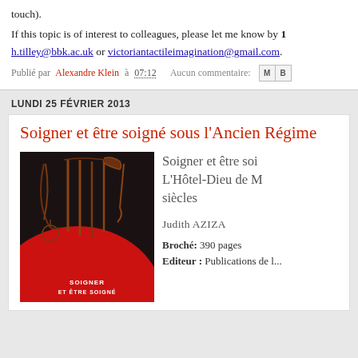touch).
If this topic is of interest to colleagues, please let me know by h.tilley@bbk.ac.uk or victoriantactileimagination@gmail.com.
Publié par Alexandre Klein à 07:12    Aucun commentaire:
LUNDI 25 FÉVRIER 2013
Soigner et être soigné sous l'Ancien Régime
[Figure (photo): Book cover of 'Soigner et être soigné' with dark background, red semicircle, and surgical instruments displayed]
Soigner et être soi... L'Hôtel-Dieu de M... siècles
Judith AZIZA
Broché: 390 pages
Editeur : Publications de l...